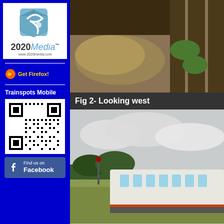[Figure (logo): 2020Media logo with cube graphic and website url www.2020media.com]
[Figure (illustration): Get Firefox! button with Firefox browser logo]
Trainspots Mobile
[Figure (other): QR code for Trainspots Mobile]
[Figure (illustration): Find us on Facebook button]
[Figure (photo): Aerial/close-up view of railway track ballast and vegetation, looking west]
Fig 2- Looking west
[Figure (photo): Train passing through countryside, overcast sky, looking west]